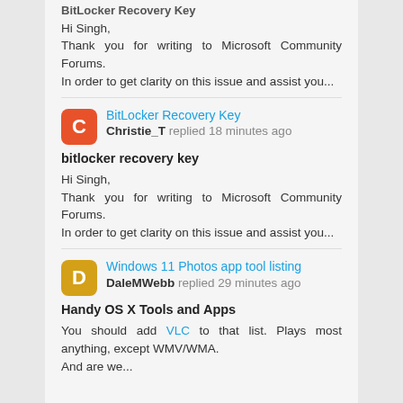BitLocker Recovery Key
Hi Singh,
Thank you for writing to Microsoft Community Forums.
In order to get clarity on this issue and assist you...
[Figure (other): User avatar for Christie_T, orange rounded square with letter C]
BitLocker Recovery Key
Christie_T replied 18 minutes ago
bitlocker recovery key
Hi Singh,
Thank you for writing to Microsoft Community Forums.
In order to get clarity on this issue and assist you...
[Figure (other): User avatar for DaleMWebb, yellow/golden rounded square with letter D]
Windows 11 Photos app tool listing
DaleMWebb replied 29 minutes ago
Handy OS X Tools and Apps
You should add VLC to that list. Plays most anything, except WMV/WMA.
And are we...